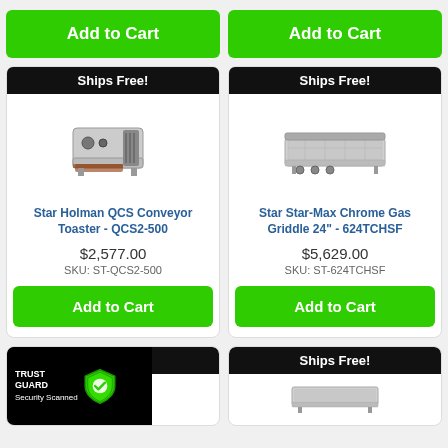Add to Cart
Add to Cart
[Figure (photo): Star Holman QCS Conveyor Toaster product image with Ships Free badge]
Star Holman QCS Conveyor Toaster - QCS2-500
$2,577.00
SKU: ST-QCS2-500
Add to Cart
[Figure (photo): Star Star-Max Chrome Gas Griddle product image with Ships Free badge]
Star Star-Max Chrome Gas Griddle 24" - 624TCHSF
$5,629.00
SKU: ST-624TCHSF
Add to Cart
[Figure (logo): Trust Guard Security Scanned badge with shield icon]
Ships Free!
Ships Free!